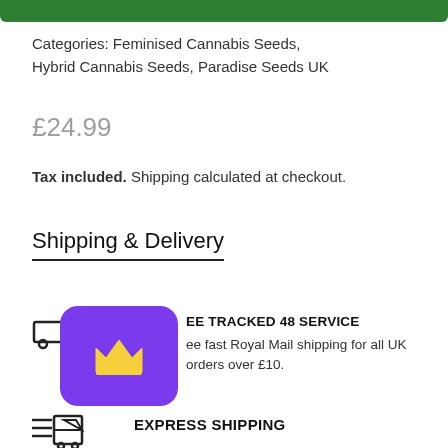Categories: Feminised Cannabis Seeds, Hybrid Cannabis Seeds, Paradise Seeds UK
£24.99
Tax included. Shipping calculated at checkout.
Shipping & Delivery
FREE TRACKED 48 SERVICE
Free fast Royal Mail shipping for all UK orders over £10.
EXPRESS SHIPPING